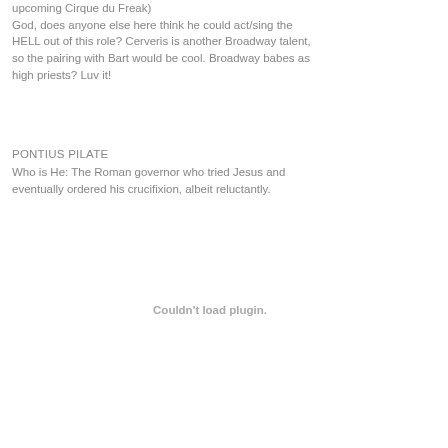upcoming Cirque du Freak) God, does anyone else here think he could act/sing the HELL out of this role? Cerveris is another Broadway talent, so the pairing with Bart would be cool. Broadway babes as high priests? Luv it!
PONTIUS PILATE
Who is He: The Roman governor who tried Jesus and eventually ordered his crucifixion, albeit reluctantly.
[Figure (other): Couldn't load plugin. placeholder area for an embedded plugin/media element]